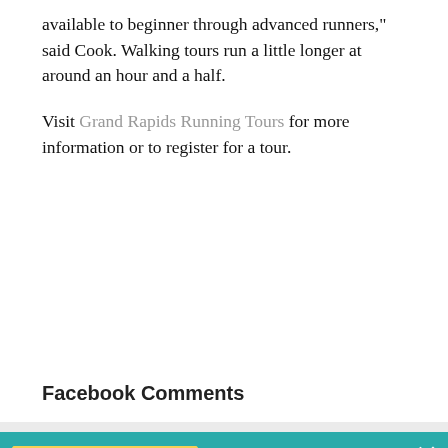available to beginner through advanced runners," said Cook. Walking tours run a little longer at around an hour and a half.
Visit Grand Rapids Running Tours for more information or to register for a tour.
Facebook Comments
[Figure (photo): A French Bulldog wearing a green floral bandana, photographed against a yellow background, looking upward.]
Are you on the list?
The Grand Rapids Magazine Daily list, of course! Our curated newsletter highlights the best food, drinks, experiences and more in Grand Rapids.
Add me to the list!